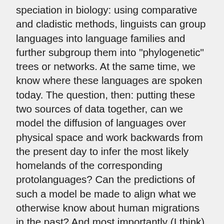speciation in biology: using comparative and cladistic methods, linguists can group languages into language families and further subgroup them into "phylogenetic" trees or networks. At the same time, we know where these languages are spoken today. The question, then: putting these two sources of data together, can we model the diffusion of languages over physical space and work backwards from the present day to infer the most likely homelands of the corresponding protolanguages? Can the predictions of such a model be made to align what we otherwise know about human migrations in the past? And most importantly (I think), from a complex systems perspective: what facets of the processes of linguistic diffusion and diversification are universal (i.e. not due to accidental historical events)? We could start with a simple random-walk model and take it from there. Slack channel is #language-diffusion.